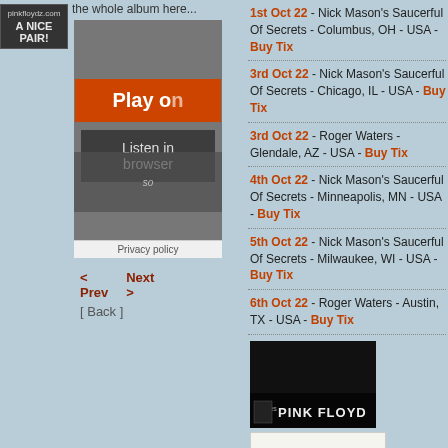[Figure (illustration): Advertisement box for pinkfloydz.com with text 'A NICE PAIR!']
the whole album here...
[Figure (screenshot): Audio player widget with orange 'Play on' button and dark 'Listen in browser' button overlay, with Privacy policy bar at bottom]
< Prev   Next >
[ Back ]
1st Oct 22 - Nick Mason's Saucerful Of Secrets - Columbus, OH - USA - Buy Tix
3rd Oct 22 - Nick Mason's Saucerful Of Secrets - Chicago, IL - USA - Buy Tix
3rd Oct 22 - Roger Waters - Glendale, AZ - USA - Buy Tix
4th Oct 22 - Nick Mason's Saucerful Of Secrets - Minneapolis, MN - USA - Buy Tix
5th Oct 22 - Nick Mason's Saucerful Of Secrets - Milwaukee, WI - USA - Buy Tix
6th Oct 22 - Roger Waters - Austin, TX - USA - Buy Tix
[Figure (illustration): Pink Floyd band promotional banner, dark background with band members silhouettes and 'PINK FLOYD' text with iTunes LP logo]
[Figure (illustration): Donate to brain damage via PayPal banner with payment card logos]